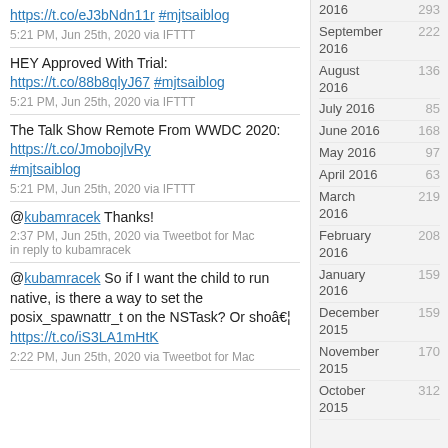HEY Approved With Trial: https://t.co/88b8qlyJ67 #mjtsaiblog
5:21 PM, Jun 25th, 2020 via IFTTT
The Talk Show Remote From WWDC 2020: https://t.co/JmobojlvRy #mjtsaiblog
5:21 PM, Jun 25th, 2020 via IFTTT
@kubamracek Thanks!
2:37 PM, Jun 25th, 2020 via Tweetbot for Mac
in reply to kubamracek
@kubamracek So if I want the child to run native, is there a way to set the posix_spawnattr_t on the NSTask? Or shoâ€¦ https://t.co/iS3LA1mHtK
2:22 PM, Jun 25th, 2020 via Tweetbot for Mac
September 2016 222
August 2016 136
July 2016 85
June 2016 168
May 2016 97
April 2016 63
March 2016 219
February 2016 208
January 2016 159
December 2015 159
November 2015 170
October 2015 312